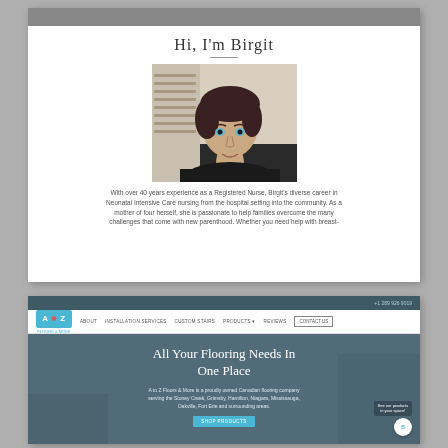[Figure (screenshot): Screenshot of a website about Birgit, showing her name as heading, a portrait photo of a woman with short dark hair, and text about her experience as a Registered Nurse in Neonatal Intensive Care nursing.]
[Figure (screenshot): Screenshot of A to Z Floors & More website, showing navigation bar with logo, links (About, Installation Services, Custom Stairs, Products, Reviews, Contact Us), and hero section with text 'All Your Flooring Needs In One Place', company description, and a Shop Products button.]